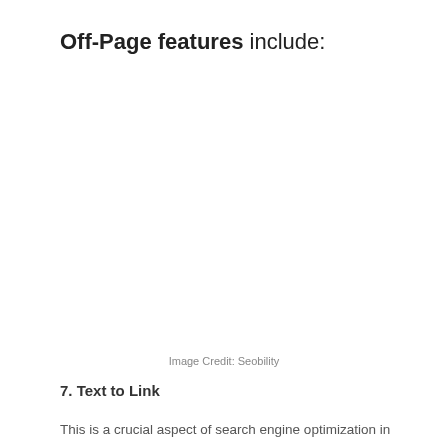Off-Page features include:
Image Credit: Seobility
7. Text to Link
This is a crucial aspect of search engine optimization in